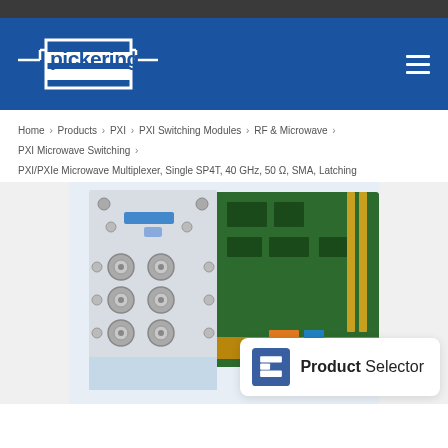[Figure (logo): Pickering company logo on blue header background with hamburger menu icon]
Home > Products > PXI > PXI Switching Modules > RF & Microwave > PXI Microwave Switching > PXI/PXIe Microwave Multiplexer, Single SP4T, 40 GHz, 50 Ω, SMA, Latching
[Figure (photo): Photo of a PXI/PXIe microwave multiplexer module showing the front panel with SMA connectors and the PCB circuit board]
[Figure (logo): Product Selector logo overlay with white rounded rectangle background]